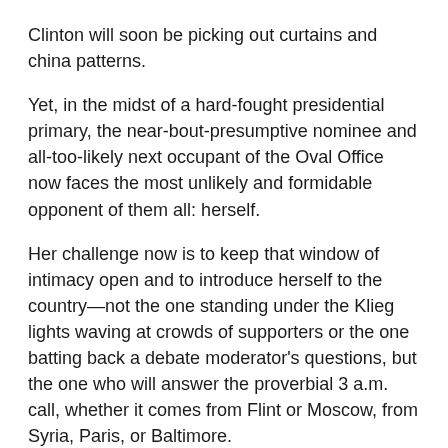Clinton will soon be picking out curtains and china patterns.
Yet, in the midst of a hard-fought presidential primary, the near-bout-presumptive nominee and all-too-likely next occupant of the Oval Office now faces the most unlikely and formidable opponent of them all: herself.
Her challenge now is to keep that window of intimacy open and to introduce herself to the country—not the one standing under the Klieg lights waving at crowds of supporters or the one batting back a debate moderator's questions, but the one who will answer the proverbial 3 a.m. call, whether it comes from Flint or Moscow, from Syria, Paris, or Baltimore.
It is admittedly a challenge not to see Clinton in political